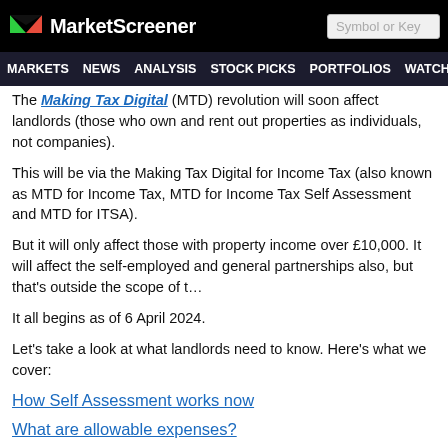MarketScreener — Symbol or Key...
The Making Tax Digital (MTD) revolution will soon affect landlords (those who own and rent out properties as individuals, not companies).
This will be via the Making Tax Digital for Income Tax (also known as MTD for Income Tax, MTD for Income Tax Self Assessment and MTD for ITSA).
But it will only affect those with property income over £10,000. It will affect the self-employed and general partnerships also, but that's outside the scope of this article.
It all begins as of 6 April 2024.
Let's take a look at what landlords need to know. Here's what we cover:
How Self Assessment works now
What are allowable expenses?